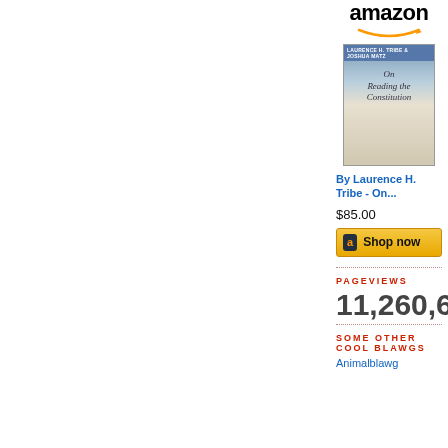[Figure (logo): Amazon logo with smile]
[Figure (photo): Book cover: On Reading the Constitution by Laurence H. Tribe]
By Laurence H. Tribe - On...
$85.00
[Figure (other): Amazon Shop now button]
PAGEVIEWS
11,260,693
SOME OTHER COOL BLAWGS
Animalblawg